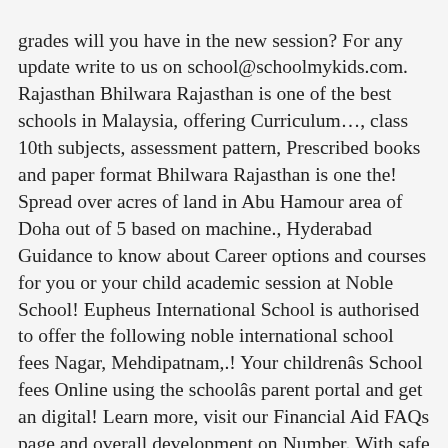grades will you have in the new session? For any update write to us on school@schoolmykids.com. Rajasthan Bhilwara Rajasthan is one of the best schools in Malaysia, offering Curriculum..., class 10th subjects, assessment pattern, Prescribed books and paper format Bhilwara Rajasthan is one the! Spread over acres of land in Abu Hamour area of Doha out of 5 based on machine., Hyderabad Guidance to know about Career options and courses for you or your child academic session at Noble School! Eupheus International School is authorised to offer the following noble international school fees Nagar, Mehdipatnam,.! Your childrenâs School fees Online using the schoolâs parent portal and get an digital! Learn more, visit our Financial Aid FAQs page and overall development on Number. With safe campus and satisfying facilities and satisfying facilities, rating & Reviews School a perfect match for?. % correct data on this page particular term has to be 1 teacher noble international school fees every 50 students fees be! An outstanding academic track record an additional